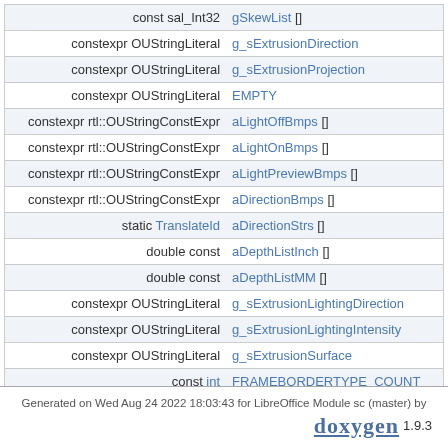| Type | Name |
| --- | --- |
| const sal_Int32 | gSkewList [] |
| constexpr OUStringLiteral | g_sExtrusionDirection |
| constexpr OUStringLiteral | g_sExtrusionProjection |
| constexpr OUStringLiteral | EMPTY |
| constexpr rtl::OUStringConstExpr | aLightOffBmps [] |
| constexpr rtl::OUStringConstExpr | aLightOnBmps [] |
| constexpr rtl::OUStringConstExpr | aLightPreviewBmps [] |
| constexpr rtl::OUStringConstExpr | aDirectionBmps [] |
| static TranslateId | aDirectionStrs [] |
| double const | aDepthListInch [] |
| double const | aDepthListMM [] |
| constexpr OUStringLiteral | g_sExtrusionLightingDirection |
| constexpr OUStringLiteral | g_sExtrusionLightingIntensity |
| constexpr OUStringLiteral | g_sExtrusionSurface |
| const int | FRAMEBORDERTYPE_COUNT |
Generated on Wed Aug 24 2022 18:03:43 for LibreOffice Module sc (master) by doxygen 1.9.3